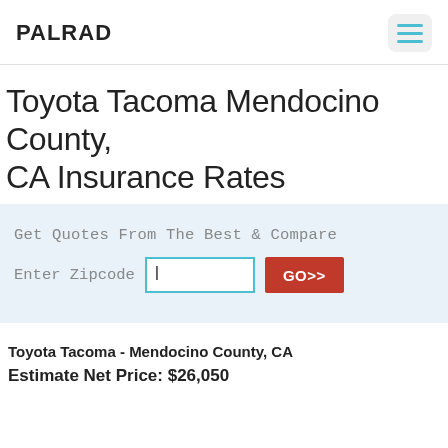PALRAD
Toyota Tacoma Mendocino County, CA Insurance Rates
Get Quotes From The Best & Compare
Enter Zipcode  [input]  GO>>
Toyota Tacoma - Mendocino County, CA
Estimate Net Price: $26,050